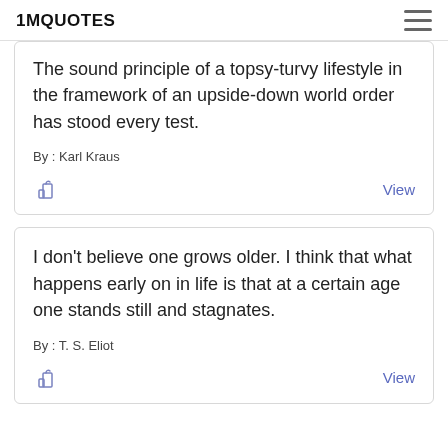1MQUOTES
The sound principle of a topsy-turvy lifestyle in the framework of an upside-down world order has stood every test.
By : Karl Kraus
View
I don't believe one grows older. I think that what happens early on in life is that at a certain age one stands still and stagnates.
By : T. S. Eliot
View